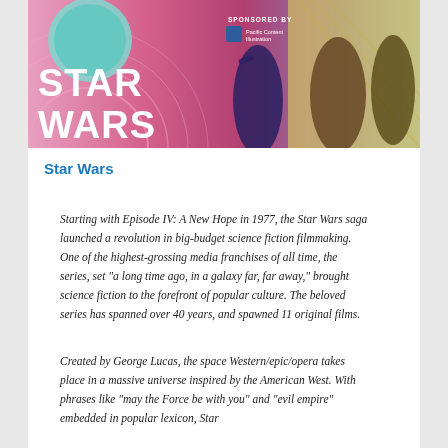[Figure (illustration): Star Wars promotional banner image with colorful graphic design showing characters with weapons, large text reading STAR WARS, and text SPONSORED BY with Pacific Content Illustration logo]
Star Wars
Starting with Episode IV: A New Hope in 1977, the Star Wars saga launched a revolution in big-budget science fiction filmmaking. One of the highest-grossing media franchises of all time, the series, set “a long time ago, in a galaxy far, far away,” brought science fiction to the forefront of popular culture. The beloved series has spanned over 40 years, and spawned 11 original films.
Created by George Lucas, the space Western/epic/opera takes place in a massive universe inspired by the American West. With phrases like “may the Force be with you” and “evil empire” embedded in popular lexicon, Star